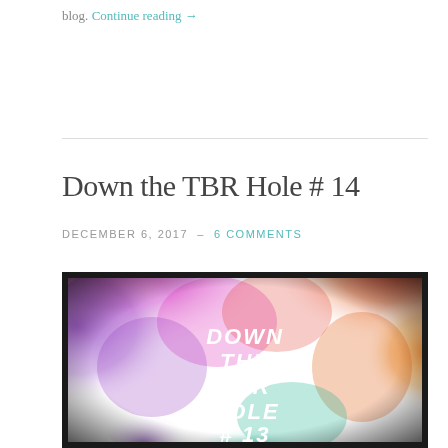blog. Continue reading →
Down the TBR Hole # 14
DECEMBER 6, 2017  –  6 COMMENTS
[Figure (photo): Colorful ink smoke clouds on white background with text overlay reading 'DOWN THE TBR HOLE # 13'. Colors include pink, purple, red, orange, green, and teal, with a dark vignette border effect.]